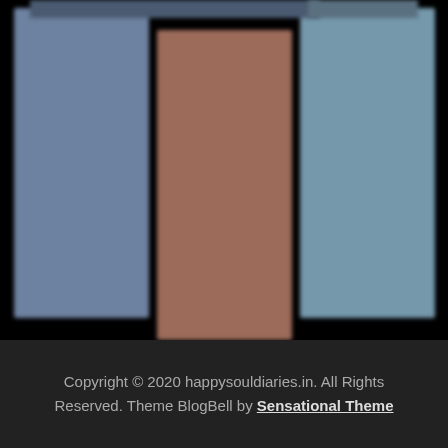[Figure (photo): Three blurred colored image blocks arranged horizontally against a black background: left block is steel blue, center block is brownish-rose offset lower, right block is muted teal/slate blue. Top bars visible at top of left and right blocks.]
Copyright © 2020 happysouldiaries.in. All Rights Reserved. Theme BlogBell by Sensational Theme